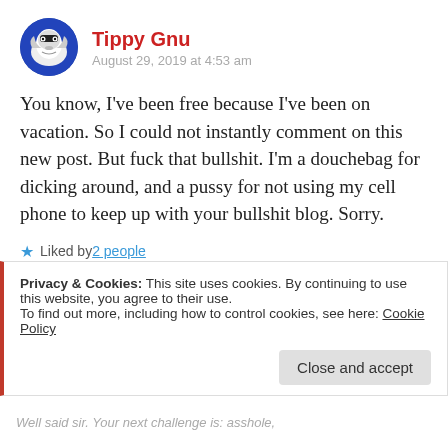Tippy Gnu — August 29, 2019 at 4:53 am
You know, I've been free because I've been on vacation. So I could not instantly comment on this new post. But fuck that bullshit. I'm a douchebag for dicking around, and a pussy for not using my cell phone to keep up with your bullshit blog. Sorry.
Liked by 2 people
★★★★★ ℹ 1 Vote
REPLY
Privacy & Cookies: This site uses cookies. By continuing to use this website, you agree to their use. To find out more, including how to control cookies, see here: Cookie Policy
Close and accept
Well said sir. Your next challenge is: asshole,